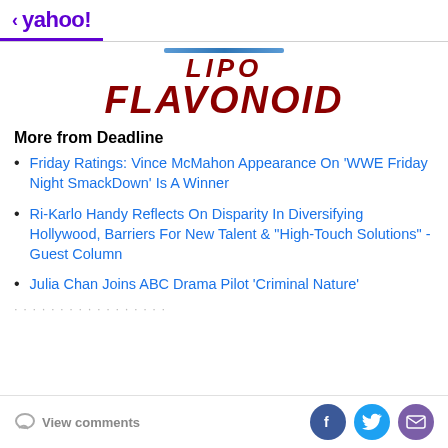< yahoo!
[Figure (logo): Lipo Flavonoid brand logo with teal bar accent, red italic text reading LIPO on top and FLAVONOID below]
More from Deadline
Friday Ratings: Vince McMahon Appearance On 'WWE Friday Night SmackDown' Is A Winner
Ri-Karlo Handy Reflects On Disparity In Diversifying Hollywood, Barriers For New Talent & "High-Touch Solutions" - Guest Column
Julia Chan Joins ABC Drama Pilot 'Criminal Nature'
View comments | Facebook | Twitter | Email